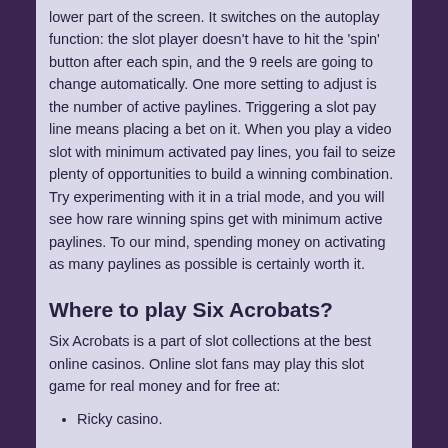lower part of the screen. It switches on the autoplay function: the slot player doesn't have to hit the 'spin' button after each spin, and the 9 reels are going to change automatically. One more setting to adjust is the number of active paylines. Triggering a slot pay line means placing a bet on it. When you play a video slot with minimum activated pay lines, you fail to seize plenty of opportunities to build a winning combination. Try experimenting with it in a trial mode, and you will see how rare winning spins get with minimum active paylines. To our mind, spending money on activating as many paylines as possible is certainly worth it.
Where to play Six Acrobats?
Six Acrobats is a part of slot collections at the best online casinos. Online slot fans may play this slot game for real money and for free at:
Ricky casino.